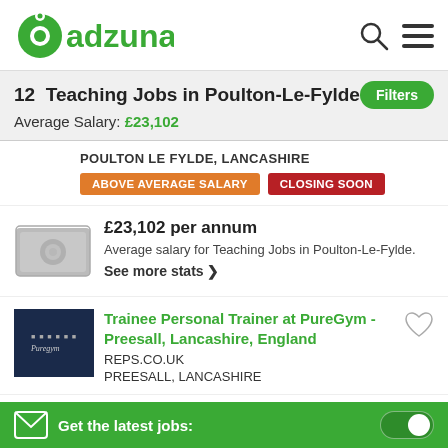adzuna
12 Teaching Jobs in Poulton-Le-Fylde
Average Salary: £23,102
POULTON LE FYLDE, LANCASHIRE
ABOVE AVERAGE SALARY   CLOSING SOON
£23,102 per annum
Average salary for Teaching Jobs in Poulton-Le-Fylde.
See more stats ❯
Trainee Personal Trainer at PureGym - Preesall, Lancashire, England
REPS.CO.UK
PREESALL, LANCASHIRE
Get the latest jobs: